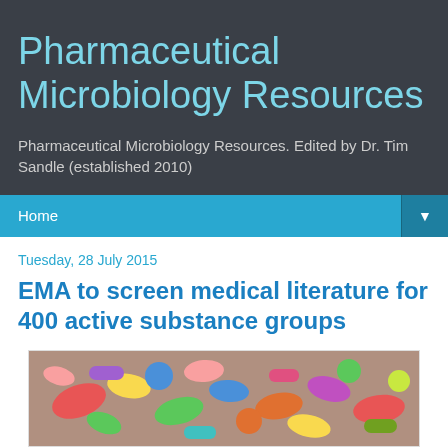Pharmaceutical Microbiology Resources
Pharmaceutical Microbiology Resources. Edited by Dr. Tim Sandle (established 2010)
Home
Tuesday, 28 July 2015
EMA to screen medical literature for 400 active substance groups
[Figure (photo): Colorful assorted pills and capsules scattered together]